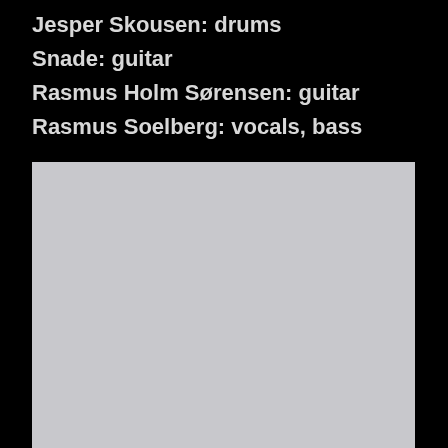Jesper Skousen: drums
Snade: guitar
Rasmus Holm Sørensen: guitar
Rasmus Soelberg: vocals, bass
[Figure (photo): A light grey rectangular photo placeholder area below the lineup text]